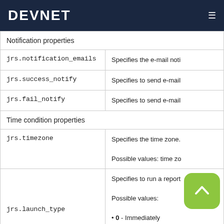DEVNET
| Notification properties |  |
| jrs.notification_emails | Specifies the e-mail noti… |
| jrs.success_notify | Specifies to send e-mail… |
| jrs.fail_notify | Specifies to send e-mail… |
| Time condition properties |  |
| jrs.timezone | Specifies the time zone.

Possible values: time zo… |
| jrs.launch_type | Specifies to run a report…

Possible values:

• 0 - Immediately |